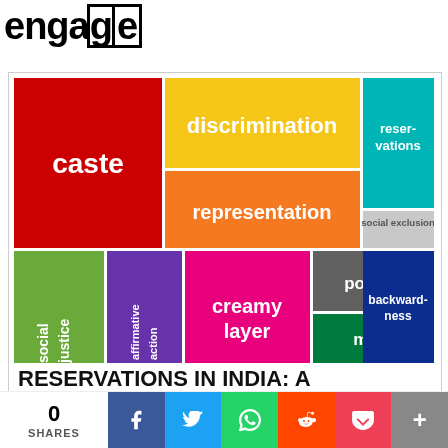EPW engage
[Figure (infographic): Word cloud treemap showing topics related to reservations in India: caste, discrimination, reservations, representation, social exclusion, social justice, affirmative action, creamy layer, politics, backwardness, merit]
RESERVATIONS IN INDIA: A RESOURCE KIT
0 SHARES | Facebook | Twitter | WhatsApp | Reddit | Pocket | More